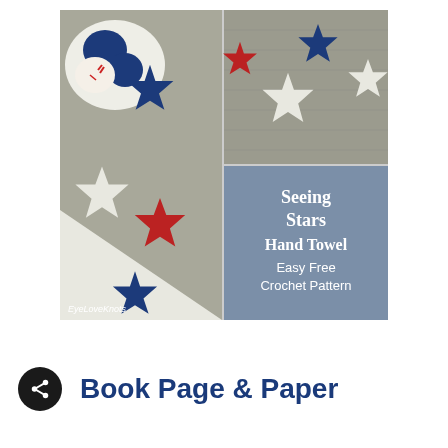[Figure (photo): A collage of three images: left panel shows a gray crochet hand towel with red, white, and navy blue crocheted stars and decorated sugar cookies in the upper corner; top-right panel shows a close-up of the gray crochet towel with white and navy blue stars; bottom-right panel shows a blue-gray background with white cursive text 'Seeing Stars Hand Towel Easy Free Crochet Pattern'. Watermark reads 'EyeLoveKnots'.]
Book Page & Paper